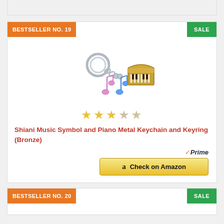BESTSELLER NO. 19
SALE
[Figure (photo): A metal keychain with a golden piano charm and two colorful music note charms (pink and blue treble clefs) on a silver keyring chain.]
★★★☆☆ (3 out of 5 stars)
Shiani Music Symbol and Piano Metal Keychain and Keyring (Bronze)
✓Prime
Check on Amazon
BESTSELLER NO. 20
SALE